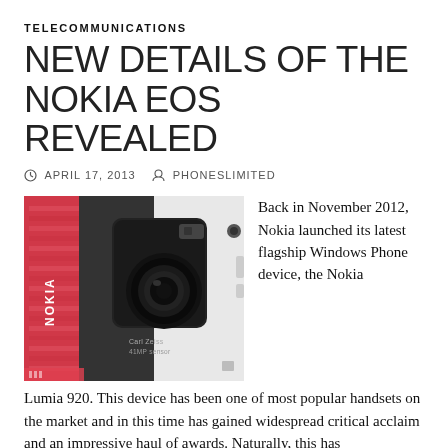TELECOMMUNICATIONS
NEW DETAILS OF THE NOKIA EOS REVEALED
© APRIL 17, 2013   👤 PHONESLIMITED
[Figure (photo): Close-up photo of a Nokia smartphone showing the Carl Zeiss 41MP sensor camera module on a white device body, with a red Nokia device visible in the background.]
Back in November 2012, Nokia launched its latest flagship Windows Phone device, the Nokia Lumia 920. This device has been one of most popular handsets on the market and in this time has gained widespread critical acclaim and an impressive haul of awards. Naturally, this has